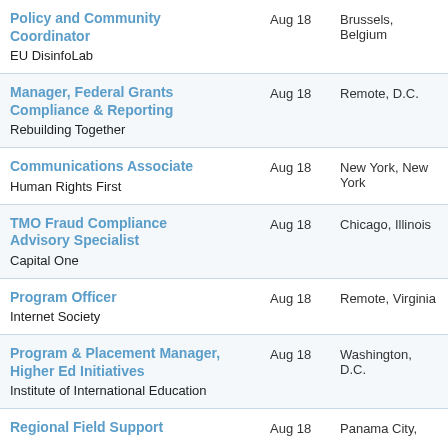Policy and Community Coordinator | EU DisinfoLab | Aug 18 | Brussels, Belgium
Manager, Federal Grants Compliance & Reporting | Rebuilding Together | Aug 18 | Remote, D.C.
Communications Associate | Human Rights First | Aug 18 | New York, New York
TMO Fraud Compliance Advisory Specialist | Capital One | Aug 18 | Chicago, Illinois
Program Officer | Internet Society | Aug 18 | Remote, Virginia
Program & Placement Manager, Higher Ed Initiatives | Institute of International Education | Aug 18 | Washington, D.C.
Regional Field Support | Aug 18 | Panama City